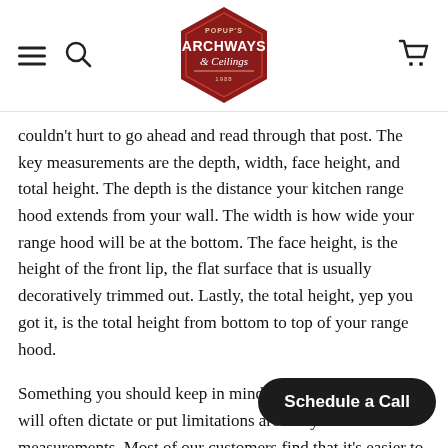Archways & Ceilings — navigation header with hamburger menu, search, logo, and cart
couldn't hurt to go ahead and read through that post. The key measurements are the depth, width, face height, and total height. The depth is the distance your kitchen range hood extends from your wall. The width is how wide your range hood will be at the bottom. The face height, is the height of the front lip, the flat surface that is usually decoratively trimmed out. Lastly, the total height, yep you got it, is the total height from bottom to top of your range hood.
Something you should keep in mind is that your vent liner will often dictate or put limitations around your measurements. Most of our customers find that it's easier to pick out the vent liner first, give us the brand and model, and then provide us with the measurements. In doing this, we make sure the vent liner will fit the range hood. However, there are those who choose to build there range hood first and then shop for a vent liner later. In any case, we adjust how we build your custom range hood around your vent liner. This